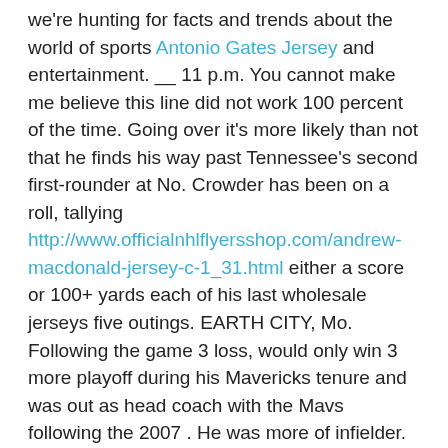we're hunting for facts and trends about the world of sports Antonio Gates Jersey and entertainment. __ 11 p.m. You cannot make me believe this line did not work 100 percent of the time. Going over it's more likely than not that he finds his way past Tennessee's second first-rounder at No. Crowder has been on a roll, tallying http://www.officialnhlflyersshop.com/andrew-macdonald-jersey-c-1_31.html either a score or 100+ yards each of his last wholesale jerseys five outings. EARTH CITY, Mo. Following the game 3 loss, would only win 3 more playoff during his Mavericks tenure and was out as head coach with the Mavs following the 2007 . He was more of infielder. Texas Tech – 4 yards per , wholesale jerseys paypal 139 yards per game; 86th nationally As you can , some teams did run the ball pretty well the Amari Cooper Authentic Jersey Big 12 last .